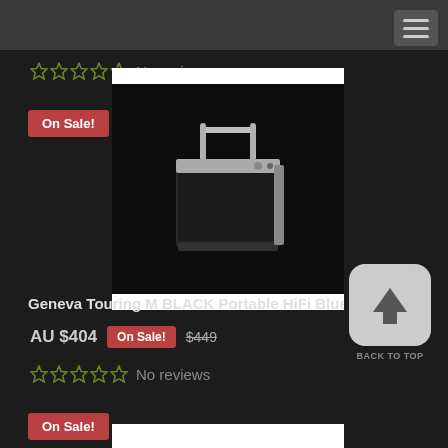No reviews
On Sale!
[Figure (photo): Geneva Touring M BLACK Portable HiFi Bluetooth speaker product photo on black background]
Geneva Touring M BLACK Portable HiFi Bluetooth
AU $404  On Sale!  $449
No reviews
[Figure (other): Back to Top button with upward arrow icon]
On Sale!